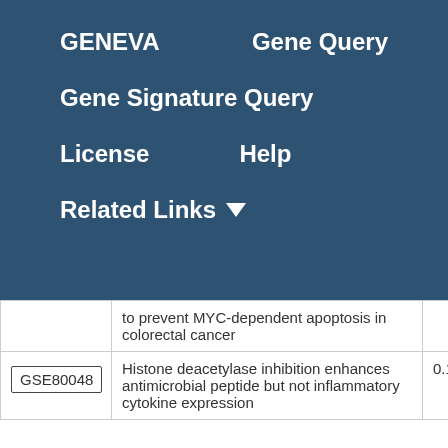GENEVA   Gene Query
Gene Signature Query
License   Help
Related Links
|  | Description | Score |
| --- | --- | --- |
|  | to prevent MYC-dependent apoptosis in colorectal cancer |  |
| GSE80048 | Histone deacetylase inhibition enhances antimicrobial peptide but not inflammatory cytokine expression | 0.11 |